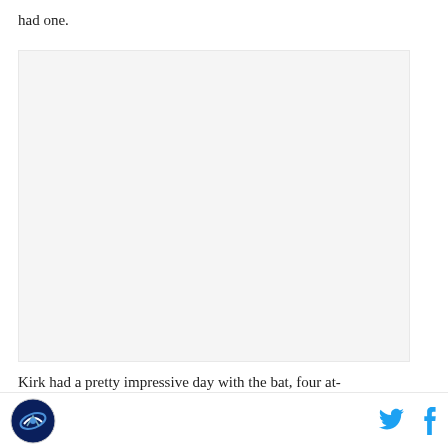had one.
[Figure (photo): Empty white/light gray image placeholder area]
Kirk had a pretty impressive day with the bat, four at-
Logo icon and social media share buttons (Twitter, Facebook)